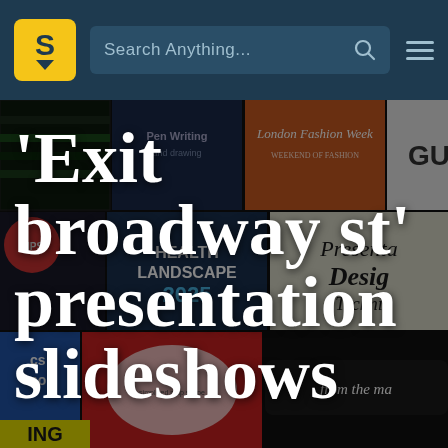Search Anything...
[Figure (screenshot): Website screenshot of a slideshow/presentation platform. Navigation bar at top with logo 'S', search bar reading 'Search Anything...', and a hamburger menu. Background shows a collage of various presentation slide thumbnails including 'Health Landscape 2025', 'London Fashion Week', 'Presentation Design Techniques', and others, all dimmed.]
'Exit broadway st' presentation slideshows